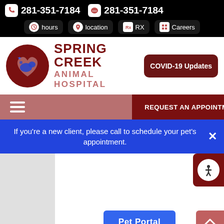281-351-7184  281-351-7184  hours  location  RX  Careers
[Figure (logo): Spring Creek Animal Hospital logo with dark red circular emblem containing stylized cat and dog silhouette with heart and paw print]
SPRING CREEK ANIMAL HOSPITAL
COVID-19 Updates
REQUEST AN APPOINTMENT
If you're a new client, please call to schedule your pet's appointment.
Pet Portal